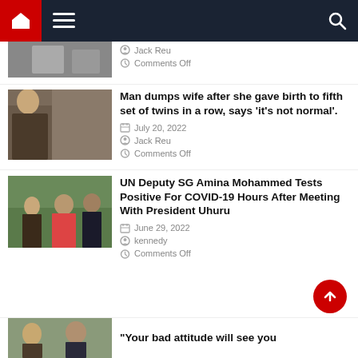Navigation bar with home, menu, and search icons
[Figure (photo): Partial photo (cropped at top) showing people]
Jack Reu
Comments Off
[Figure (photo): Woman and children standing in front of brick wall]
Man dumps wife after she gave birth to fifth set of twins in a row, says ‘it’s not normal’.
July 20, 2022
Jack Reu
Comments Off
[Figure (photo): Group of people outdoors, one in a suit, others in colorful clothing]
UN Deputy SG Amina Mohammed Tests Positive For COVID-19 Hours After Meeting With President Uhuru
June 29, 2022
kennedy
Comments Off
[Figure (photo): Partial photo at bottom — people visible, cropped]
“Your bad attitude will see you